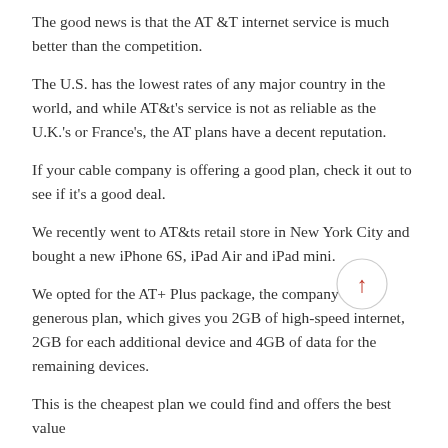The good news is that the AT &T internet service is much better than the competition.
The U.S. has the lowest rates of any major country in the world, and while AT&t's service is not as reliable as the U.K.'s or France's, the AT plans have a decent reputation.
If your cable company is offering a good plan, check it out to see if it's a good deal.
We recently went to AT&ts retail store in New York City and bought a new iPhone 6S, iPad Air and iPad mini.
We opted for the AT+ Plus package, the company's most generous plan, which gives you 2GB of high-speed internet, 2GB for each additional device and 4GB of data for the remaining devices.
This is the cheapest plan we could find and offers the best value